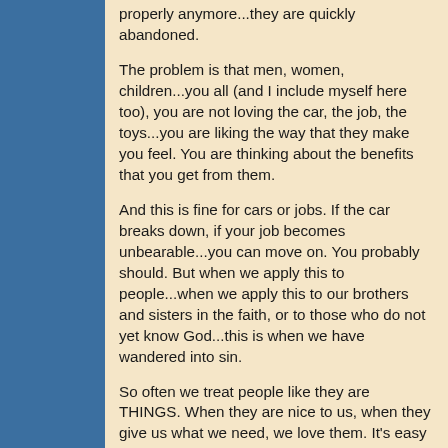properly anymore...they are quickly abandoned.
The problem is that men, women, children...you all (and I include myself here too), you are not loving the car, the job, the toys...you are liking the way that they make you feel.  You are thinking about the benefits that you get from them.
And this is fine for cars or jobs.  If the car breaks down, if your job becomes unbearable...you can move on.  You probably should.  But when we apply this to people...when we apply this to our brothers and sisters in the faith, or to those who do not yet know God...this is when we have wandered into sin.
So often we treat people like they are THINGS.  When they are nice to us, when they give us what we need, we love them.  It's easy to love your husband or your wife when they are giving you presents.
Or spending time with you.  Or showing love in any number of ways.  But what about when you're arguing with them?  What about when you have